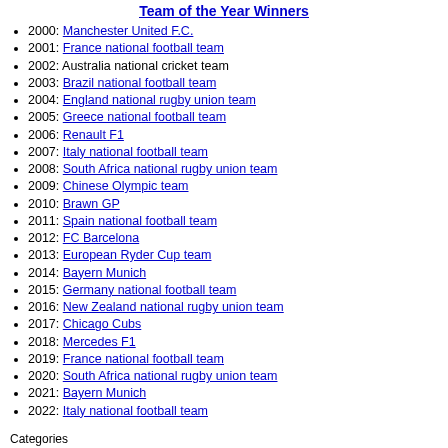Team of the Year Winners
2000: Manchester United F.C.
2001: France national football team
2002: Australia national cricket team
2003: Brazil national football team
2004: England national rugby union team
2005: Greece national football team
2006: Renault F1
2007: Italy national football team
2008: South Africa national rugby union team
2009: Chinese Olympic team
2010: Brawn GP
2011: Spain national football team
2012: FC Barcelona
2013: European Ryder Cup team
2014: Bayern Munich
2015: Germany national football team
2016: New Zealand national rugby union team
2017: Chicago Cubs
2018: Mercedes F1
2019: France national football team
2020: South Africa national rugby union team
2021: Bayern Munich
2022: Italy national football team